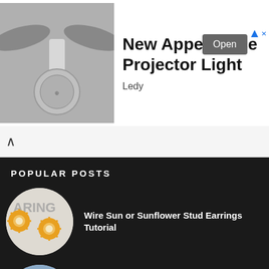[Figure (photo): Advertisement banner showing a projector light with wing-like fins against gray background]
New Appearance Projector Light
Ledy
[Figure (screenshot): Navigation bar with up chevron arrow]
POPULAR POSTS
[Figure (photo): Circular thumbnail of Wire Sun or Sunflower Stud Earrings - golden sun-shaped stud earrings with white pearl center]
Wire Sun or Sunflower Stud Earrings Tutorial
[Figure (photo): Circular thumbnail of blue and white beaded box with intricate pattern]
Adorable Beaded Boxes, Charms and Doily Tutorials by ChikaBeadwork
[Figure (photo): Partial circular thumbnail with dark iridescent colors]
Faux Ceramic Polymer Clay Jewelry Tutorial